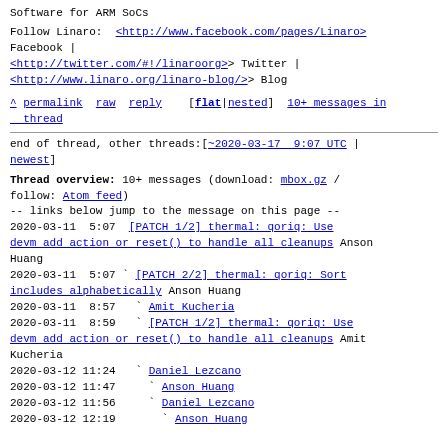Software for ARM SoCs
Follow Linaro:  <http://www.facebook.com/pages/Linaro> Facebook | <http://twitter.com/#!/linaroorg> Twitter | <http://www.linaro.org/linaro-blog/> Blog
^ permalink  raw  reply    [flat|nested]  10+ messages in thread
end of thread, other threads:[~2020-03-17  9:07 UTC | newest]
Thread overview: 10+ messages (download: mbox.gz / follow: Atom feed)
-- links below jump to the message on this page --
2020-03-11  5:07 [PATCH 1/2] thermal: qoriq: Use devm add action or reset() to handle all cleanups  Anson Huang
2020-03-11  5:07 ` [PATCH 2/2] thermal: qoriq: Sort includes alphabetically  Anson Huang
2020-03-11  8:57 ` Amit Kucheria
2020-03-11  8:59 ` [PATCH 1/2] thermal: qoriq: Use devm add action or reset() to handle all cleanups  Amit Kucheria
2020-03-12 11:24 ` Daniel Lezcano
2020-03-12 11:47   ` Anson Huang
2020-03-12 11:56   ` Daniel Lezcano
2020-03-12 12:19     ` Anson Huang